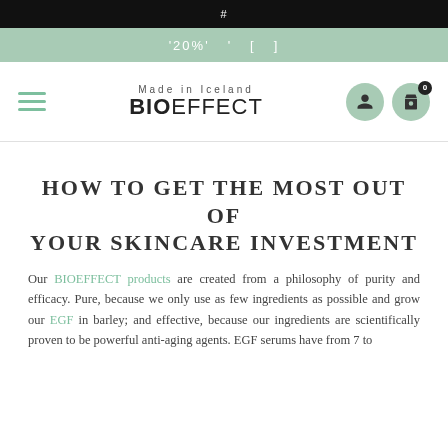#
'20%' ' [ ]
[Figure (logo): BIOEFFECT logo with 'Made in Iceland' tagline, hamburger menu icon, user icon and shopping bag icon with 0 badge]
HOW TO GET THE MOST OUT OF YOUR SKINCARE INVESTMENT
Our BIOEFFECT products are created from a philosophy of purity and efficacy. Pure, because we only use as few ingredients as possible and grow our EGF in barley; and effective, because our ingredients are scientifically proven to be powerful anti-aging agents. EGF serums have from 7 to